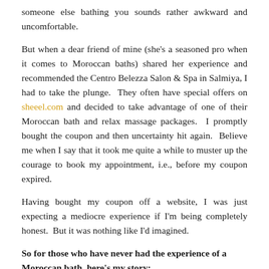someone else bathing you sounds rather awkward and uncomfortable.
But when a dear friend of mine (she's a seasoned pro when it comes to Moroccan baths) shared her experience and recommended the Centro Belezza Salon & Spa in Salmiya, I had to take the plunge.  They often have special offers on sheeel.com and decided to take advantage of one of their Moroccan bath and relax massage packages.  I promptly bought the coupon and then uncertainty hit again.  Believe me when I say that it took me quite a while to muster up the courage to book my appointment, i.e., before my coupon expired.
Having bought my coupon off a website, I was just expecting a mediocre experience if I'm being completely honest.  But it was nothing like I'd imagined.
So for those who have never had the experience of a Moroccan bath, here's my story: